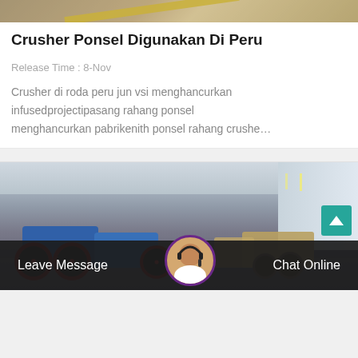[Figure (photo): Top of a road or construction surface with a yellow stripe, partially visible at the top of the page]
Crusher Ponsel Digunakan Di Peru
Release Time : 8-Nov
Crusher di roda peru jun vsi menghancurkan infusedprojectipasang rahang ponsel menghancurkan pabrikenith ponsel rahang crushe…
[Figure (photo): Factory interior with blue jaw crusher machines and large wheels with red rims in the foreground, tan/beige machinery in the background, industrial warehouse setting with overhead lighting]
Leave Message
Chat Online